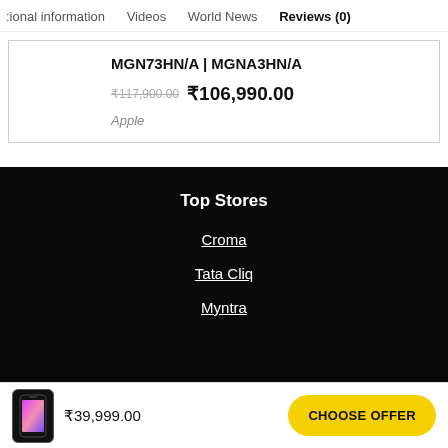ional information   Videos   World News   Reviews (0)
MGN73HN/A | MGNA3HN/A
₹117,900.00  ₹106,990.00
Apple
Top Stores
Croma
Tata Cliq
Myntra
₹39,999.00
CHOOSE OFFER